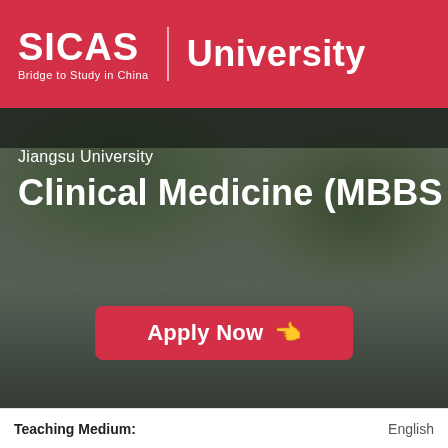[Figure (logo): SICAS | University logo on red header bar. SICAS in bold white, 'Bridge to Study in China' tagline below, vertical divider, then 'University' in bold white.]
[Figure (photo): Blurred outdoor campus background photo with green foliage, dark overlay at top.]
Jiangsu University
Clinical Medicine (MBBS in En
[Figure (other): Red 'Apply Now' button with cursor icon]
| Teaching Medium: | English |
| --- | --- |